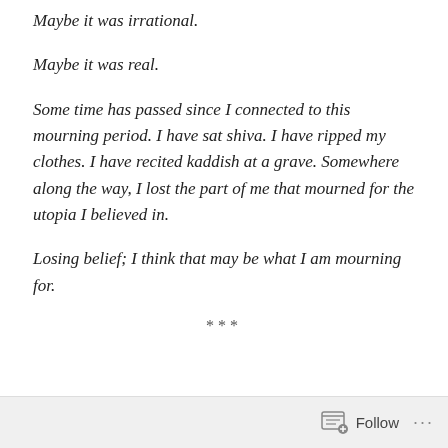Maybe it was irrational.
Maybe it was real.
Some time has passed since I connected to this mourning period. I have sat shiva. I have ripped my clothes. I have recited kaddish at a grave. Somewhere along the way, I lost the part of me that mourned for the utopia I believed in.
Losing belief; I think that may be what I am mourning for.
***
Follow ...